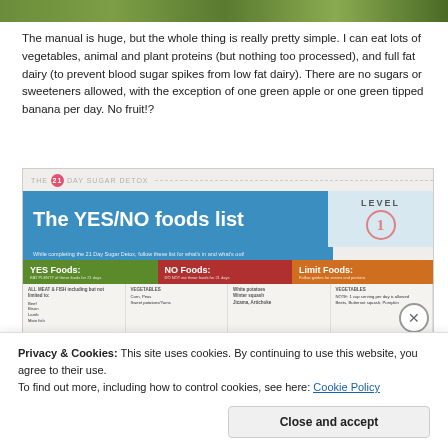[Figure (photo): Green/nature photo strip at top of page]
The manual is huge, but the whole thing is really pretty simple. I can eat lots of vegetables, animal and plant proteins (but nothing too processed), and full fat dairy (to prevent blood sugar spikes from low fat dairy). There are no sugars or sweeteners allowed, with the exception of one green apple or one green tipped banana per day. No fruit!?
[Figure (infographic): The 21 Day Sugar Detox - The YES/NO foods list Level 1. Shows YES Foods (green), NO Foods (red), and Limit Foods (orange) categories with food listings below each category.]
Privacy & Cookies: This site uses cookies. By continuing to use this website, you agree to their use.
To find out more, including how to control cookies, see here: Cookie Policy
Close and accept